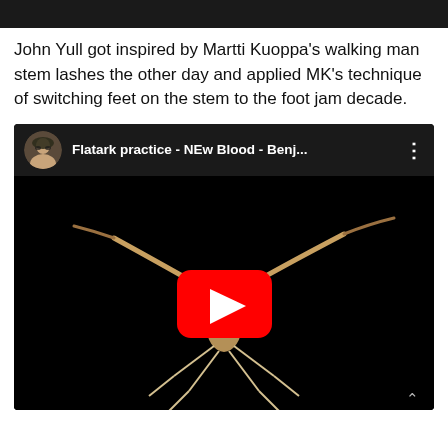[Figure (screenshot): Dark top navigation bar]
John Yull got inspired by Martti Kuoppa's walking man stem lashes the other day and applied MK's technique of switching feet on the stem to the foot jam decade.
[Figure (screenshot): YouTube video embed showing 'Flatark practice - NEw Blood - Benj...' with a praying mantis thumbnail and red play button]